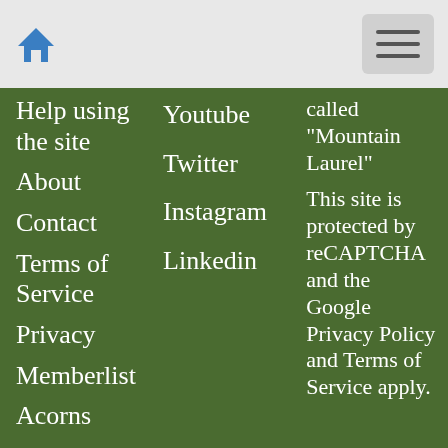Home | Menu
Help using the site
About
Contact
Terms of Service
Privacy
Memberlist
Acorns
Links
Youtube
Twitter
Instagram
Linkedin
called "Mountain Laurel"
This site is protected by reCAPTCHA and the Google Privacy Policy and Terms of Service apply.